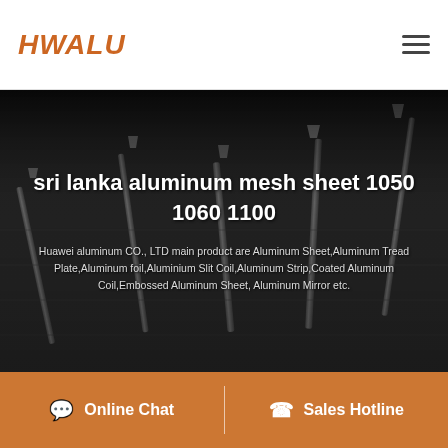HWALU
[Figure (photo): Dark background photo of screws/nails arranged on a surface, black and white tone]
sri lanka aluminum mesh sheet 1050 1060 1100
Huawei aluminum CO., LTD main product are Aluminum Sheet,Aluminum Tread Plate,Aluminum foil,Aluminium Slit Coil,Aluminum Strip,Coated Aluminum Coil,Embossed Aluminum Sheet, Aluminum Mirror etc.
Online Chat | Sales Hotline